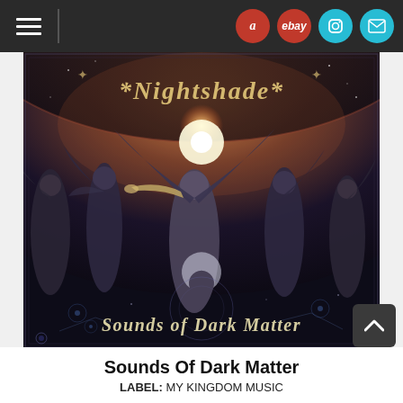Navigation bar with hamburger menu and icons for Amazon, eBay, Instagram, Mail
[Figure (illustration): Album cover art for 'Sounds of Dark Matter' by Nightshade. Dark fantasy artwork depicting robed angelic figures with wings against a cosmic backdrop. A central angel blows a trumpet. A crescent moon and ornate text reading 'Sounds of Dark Matter' appear at the bottom. The band name 'Nightshade' is written in gothic lettering at the top.]
Sounds Of Dark Matter
LABEL: MY KINGDOM MUSIC